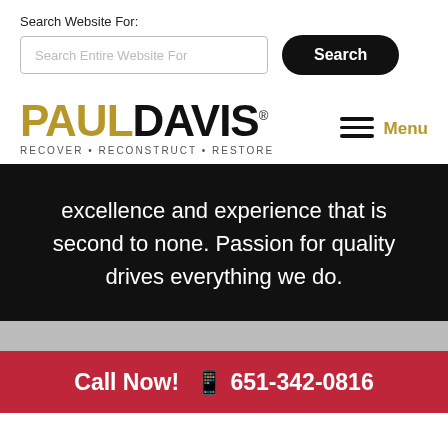Search Website For:
Search Entire Website For
Search
[Figure (logo): Paul Davis logo with tagline RECOVER • RECONSTRUCT • RESTORE]
Menu
excellence and experience that is second to none. Passion for quality drives everything we do.
Call Now!  📱 651-342-0816